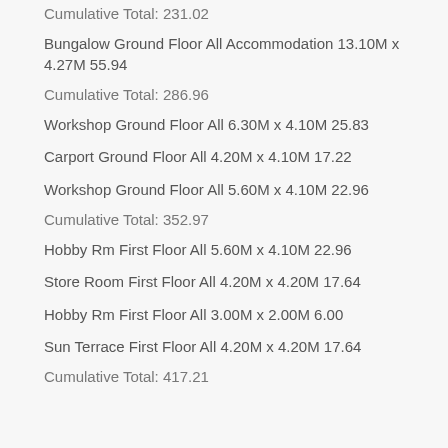Cumulative Total: 231.02
Bungalow Ground Floor All Accommodation 13.10M x 4.27M 55.94
Cumulative Total: 286.96
Workshop Ground Floor All 6.30M x 4.10M 25.83
Carport Ground Floor All 4.20M x 4.10M 17.22
Workshop Ground Floor All 5.60M x 4.10M 22.96
Cumulative Total: 352.97
Hobby Rm First Floor All 5.60M x 4.10M 22.96
Store Room First Floor All 4.20M x 4.20M 17.64
Hobby Rm First Floor All 3.00M x 2.00M 6.00
Sun Terrace First Floor All 4.20M x 4.20M 17.64
Cumulative Total: 417.21